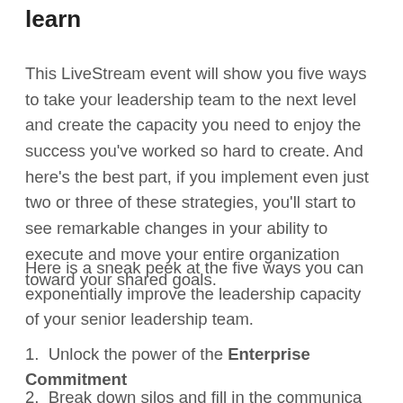learn
This LiveStream event will show you five ways to take your leadership team to the next level and create the capacity you need to enjoy the success you've worked so hard to create. And here's the best part, if you implement even just two or three of these strategies, you'll start to see remarkable changes in your ability to execute and move your entire organization toward your shared goals.
Here is a sneak peek at the five ways you can exponentially improve the leadership capacity of your senior leadership team.
1. Unlock the power of the Enterprise Commitment
2. Break down silos and fill in the communication…